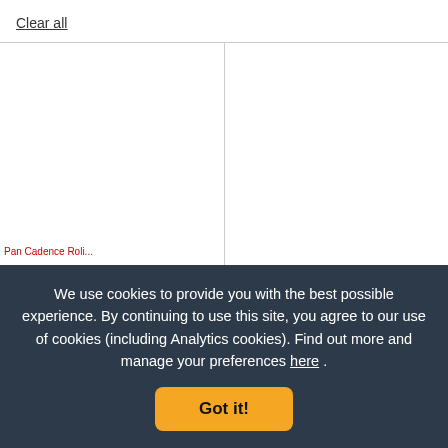Clear all
[Figure (screenshot): Two-column product grid layout with a vertical divider, mostly blank white product image areas]
We use cookies to provide you with the best possible experience. By continuing to use this site, you agree to our use of cookies (including Analytics cookies). Find out more and manage your preferences here.
Got it!
£104.99
£1,19